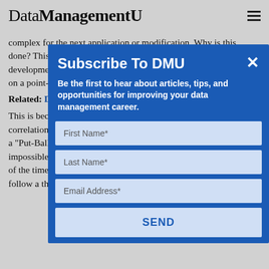DataManagementU
complex for the next application or modification. Why is this done? This siloed, piecemeal approach is how system interface development is carried to systems today. Sharing approach based on a point-to-point solution is pervasive in the industry.
Related: Data Integration Mistakes
This is because organizations build interfaces or execute data sharing on a point-to-point basis putting the IT organization into a 'Put-Ball'. The term 'Put-Ball' was Semantics...impact is nearly impossible to apply. IT organizations make unreliable updates most of the time. So the architect identifies must be analyzed like doing follow a threshold structure. By: This is the most...
Subscribe To DMU
Be the first to hear about articles, tips, and opportunities for improving your data management career.
First Name*
Last Name*
Email Address*
SEND